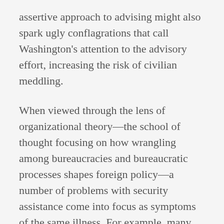assertive approach to advising might also spark ugly conflagrations that call Washington's attention to the advisory effort, increasing the risk of civilian meddling.
When viewed through the lens of organizational theory—the school of thought focusing on how wrangling among bureaucracies and bureaucratic processes shapes foreign policy—a number of problems with security assistance come into focus as symptoms of the same illness. For example, many commentators cite the short tours of military advisers as a cause of train-and-equip missions' failure. Critics are right to point out that short tours are completely incompatible